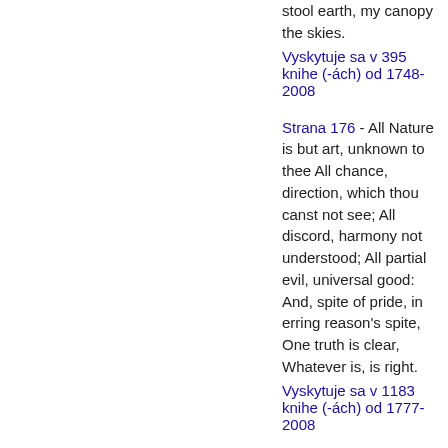stool earth, my canopy the skies.
Vyskytuje sa v 395 knihe (-ách) od 1748-2008
Strana 176 - All Nature is but art, unknown to thee All chance, direction, which thou canst not see; All discord, harmony not understood; All partial evil, universal good: And, spite of pride, in erring reason's spite, One truth is clear, Whatever is, is right.
Vyskytuje sa v 1183 knihe (-ách) od 1777-2008
Strana 177 - When the proud steed shall know why man restrains His fiery course, or drives